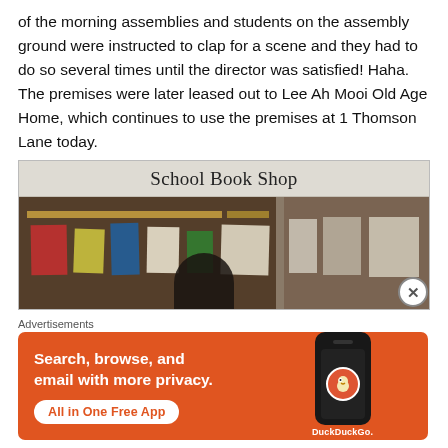of the morning assemblies and students on the assembly ground were instructed to clap for a scene and they had to do so several times until the director was satisfied! Haha. The premises were later leased out to Lee Ah Mooi Old Age Home, which continues to use the premises at 1 Thomson Lane today.
[Figure (photo): Photo of a School Book Shop interior with bulletin boards covered in papers and posters.]
Advertisements
[Figure (photo): DuckDuckGo advertisement banner: Search, browse, and email with more privacy. All in One Free App. Shows a phone with DuckDuckGo logo.]